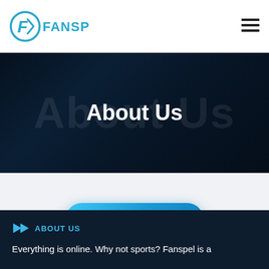[Figure (logo): Fanspel logo with circular icon containing letter F and text FANSPEL in teal/blue color]
[Figure (other): Hamburger menu icon (three horizontal lines) in top right corner]
About Us
[Figure (other): Download For Android User button with Android robot icon, blue gradient rounded pill shape]
ABOUT US
Everything is online. Why not sports? Fanspel is a